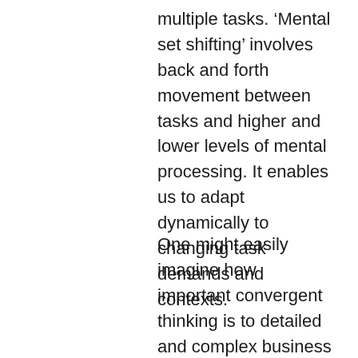multiple tasks. ‘Mental set shifting’ involves back and forth movement between tasks and higher and lower levels of mental processing. It enables us to adapt dynamically to changing task demands and contexts.
One might easily imagine how important convergent thinking is to detailed and complex business planning, or mapping out implementation of a complex new process as in